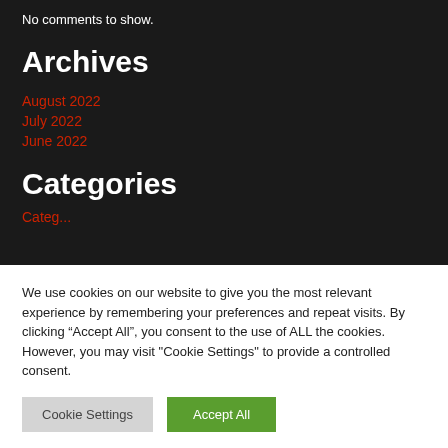No comments to show.
Archives
August 2022
July 2022
June 2022
Categories
We use cookies on our website to give you the most relevant experience by remembering your preferences and repeat visits. By clicking “Accept All”, you consent to the use of ALL the cookies. However, you may visit "Cookie Settings" to provide a controlled consent.
Cookie Settings | Accept All